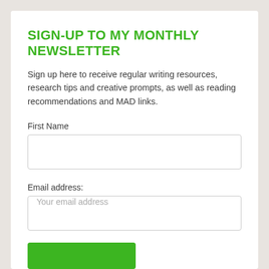SIGN-UP TO MY MONTHLY NEWSLETTER
Sign up here to receive regular writing resources, research tips and creative prompts, as well as reading recommendations and MAD links.
First Name
Email address:
Your email address